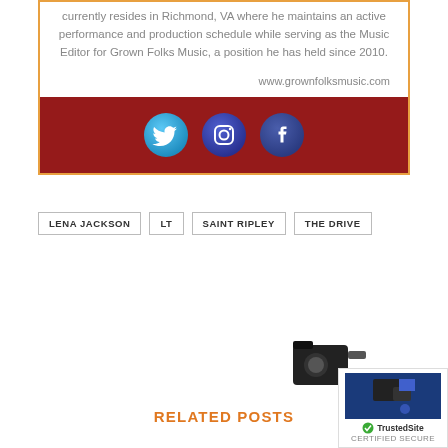currently resides in Richmond, VA where he maintains an active performance and production schedule while serving as the Music Editor for Grown Folks Music, a position he has held since 2010.
www.grownfolksmusic.com
[Figure (infographic): Dark red banner with three circular social media icons: Twitter (blue bird), Instagram (blue gradient camera), Facebook (blue f)]
LENA JACKSON
LT
SAINT RIPLEY
THE DRIVE
[Figure (photo): Partial image of a video camera or similar device, partially visible at bottom right]
RELATED POSTS
[Figure (logo): TrustedSite certified secure badge]